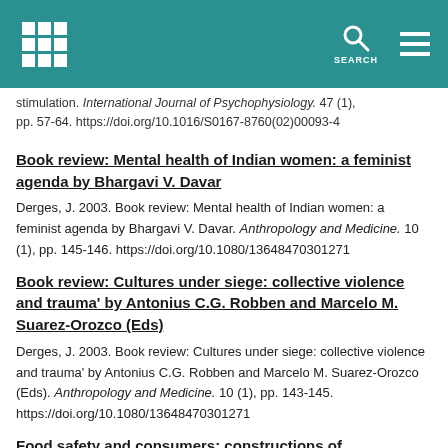SEARCH
stimulation. International Journal of Psychophysiology. 47 (1), pp. 57-64. https://doi.org/10.1016/S0167-8760(02)00093-4
Book review: Mental health of Indian women: a feminist agenda by Bhargavi V. Davar
Derges, J. 2003. Book review: Mental health of Indian women: a feminist agenda by Bhargavi V. Davar. Anthropology and Medicine. 10 (1), pp. 145-146. https://doi.org/10.1080/13648470301271
Book review: Cultures under siege: collective violence and trauma' by Antonius C.G. Robben and Marcelo M. Suarez-Orozco (Eds)
Derges, J. 2003. Book review: Cultures under siege: collective violence and trauma' by Antonius C.G. Robben and Marcelo M. Suarez-Orozco (Eds). Anthropology and Medicine. 10 (1), pp. 143-145. https://doi.org/10.1080/13648470301271
Food safety and consumers: constructions of